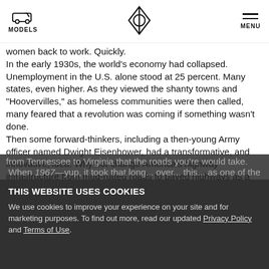MODELS  [logo]  MENU
women back to work. Quickly.
In the early 1930s, the world's economy had collapsed. Unemployment in the U.S. alone stood at 25 percent. Many states, even higher. As they viewed the shanty towns and "Hoovervilles," as homeless communities were then called, many feared that a revolution was coming if something wasn't done.
Then some forward-thinkers, including a then-young Army officer named Dwight Eisenhower, had a transformative, and innovative, idea. Why not change America's highway infrastructure from mud-rutted roads to paved highways as a way to put people back to work?
From the CCC and the ERA to the WPA, Congress and the Franklin D. Roosevelt administration worked through their differences together and saw to it that the men who would move the rock and dirt, and lay the concrete and steel to create what began as the Appalachian Scenic Highway, came from the poverty-ravaged "hollers" and mountains from Tennessee to Virginia that the roads you're would take.
When [1967]—yup, it took that long... over... this... as one of the greatest
THIS WEBSITE USES COOKIES
We use cookies to improve your experience on your site and for marketing purposes. To find out more, read our updated Privacy Policy and Terms of Use.